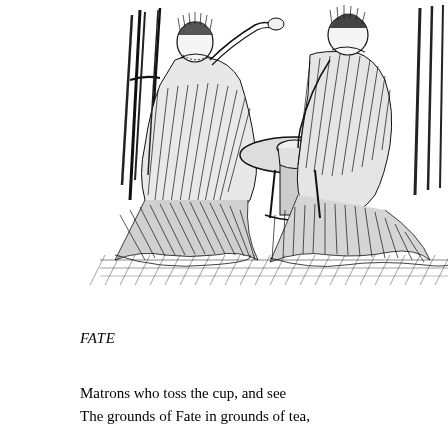[Figure (illustration): A detailed black and white pen-and-ink illustration showing two women in elaborate Victorian-era gowns with voluminous skirts seated at a small round table. They appear to be engaged in tea or fortune-telling with a cup. The drawing style features dense cross-hatching and fine lines typical of 19th century book illustrations.]
FATE
Matrons who toss the cup, and see
The grounds of Fate in grounds of tea,